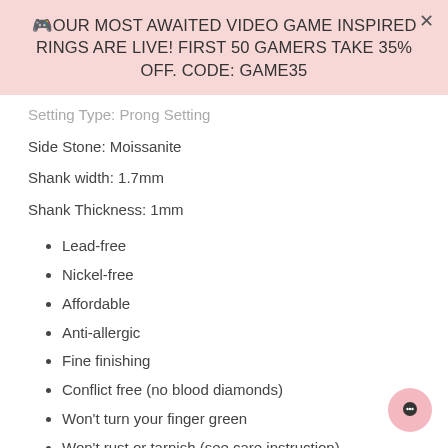🎮OUR MOST AWAITED VIDEO GAME INSPIRED RINGS ARE LIVE! FIRST 50 GAMERS TAKE 35% OFF. CODE: GAME35
Setting Type: Prong Setting
Side Stone: Moissanite
Shank width: 1.7mm
Shank Thickness: 1mm
Lead-free
Nickel-free
Affordable
Anti-allergic
Fine finishing
Conflict free (no blood diamonds)
Won't turn your finger green
Won't rust or tarnish (see care instruction)
Comfortable for daily wear
Handcrafted to perfection